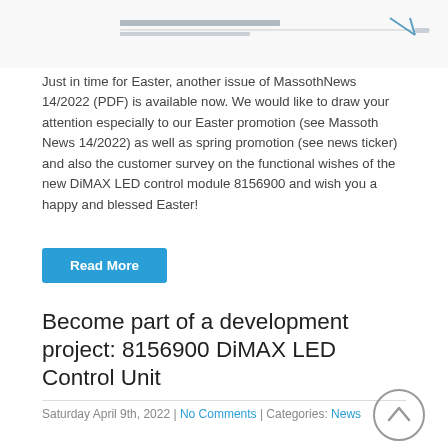[Figure (screenshot): Header image showing a Massoth newsletter/webpage header with logo and navigation bar]
Just in time for Easter, another issue of MassothNews 14/2022 (PDF) is available now. We would like to draw your attention especially to our Easter promotion (see Massoth News 14/2022) as well as spring promotion (see news ticker) and also the customer survey on the functional wishes of the new DiMAX LED control module 8156900 and wish you a happy and blessed Easter!
Read More
Become part of a development project: 8156900 DiMAX LED Control Unit
Saturday April 9th, 2022 | No Comments | Categories: News